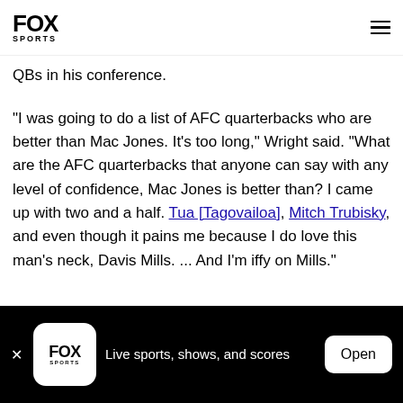FOX SPORTS
QBs in his conference.
"I was going to do a list of AFC quarterbacks who are better than Mac Jones. It's too long," Wright said. "What are the AFC quarterbacks that anyone can say with any level of confidence, Mac Jones is better than? I came up with two and a half. Tua [Tagovailoa], Mitch Trubisky, and even though it pains me because I do love this man's neck, Davis Mills. ... And I'm iffy on Mills."
Live sports, shows, and scores